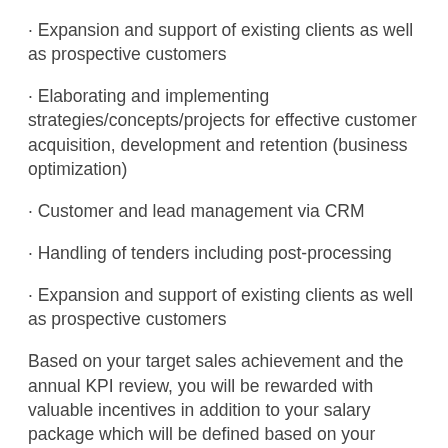· Expansion and support of existing clients as well as prospective customers
· Elaborating and implementing strategies/concepts/projects for effective customer acquisition, development and retention (business optimization)
· Customer and lead management via CRM
· Handling of tenders including post-processing
· Expansion and support of existing clients as well as prospective customers
Based on your target sales achievement and the annual KPI review, you will be rewarded with valuable incentives in addition to your salary package which will be defined based on your